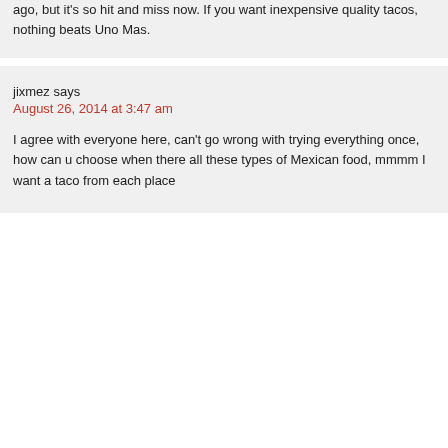ago, but it's so hit and miss now. If you want inexpensive quality tacos, nothing beats Uno Mas.
jixmez says
August 26, 2014 at 3:47 am
I agree with everyone here, can't go wrong with trying everything once, how can u choose when there all these types of Mexican food, mmmm I want a taco from each place